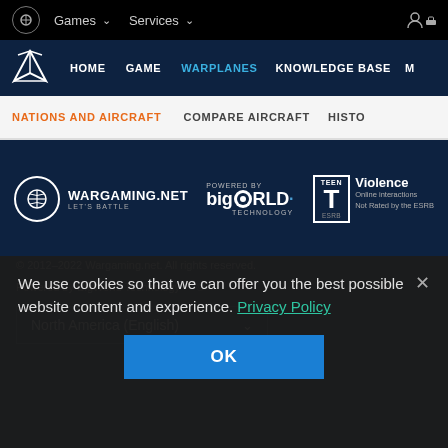Games  Services
HOME  GAME  WARPLANES  KNOWLEDGE BASE  M
NATIONS AND AIRCRAFT  COMPARE AIRCRAFT  HISTO
[Figure (logo): Wargaming.net LET'S BATTLE logo with circle icon]
[Figure (logo): POWERED BY bigWORLD TECHNOLOGY logo]
[Figure (logo): ESRB TEEN rating box - Violence. Online interactions Not Rated by the ESRB]
© 2012–2022 Wargaming.net. All rights reserved.
Powered by BigWorld Technology™ ©
North America (English)
We use cookies so that we can offer you the best possible website content and experience. Privacy Policy
OK